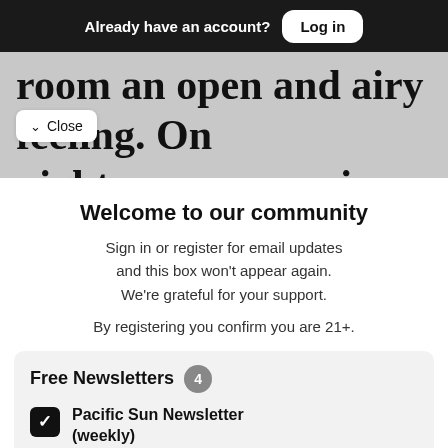Already have an account? Log in
room an open and airy feeling. On nights, you can enjoy outdoor
✓ Close
Welcome to our community
Sign in or register for email updates and this box won't appear again. We're grateful for your support.
By registering you confirm you are 21+.
Free Newsletters 4
Pacific Sun Newsletter (weekly) — News stories, arts and dining